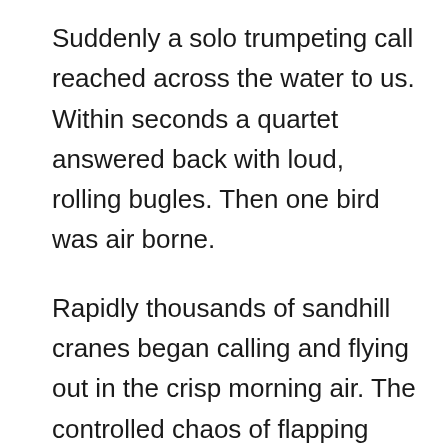Suddenly a solo trumpeting call reached across the water to us.  Within seconds a quartet answered back with loud, rolling bugles.  Then one bird was air borne.
Rapidly thousands of sandhill cranes began calling and flying out in the crisp morning air.  The controlled chaos of flapping wings and rolling bugle calls were deafening.  Within a few moments the once packed ponds were empty.  Stray feathers